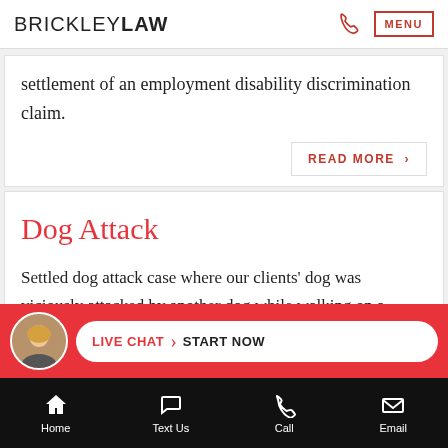BRICKLEY LAW  MENU
settlement of an employment disability discrimination claim.
READ MORE ›
Dog Attack
Settled dog attack case where our clients' dog was viciously attacked by another dog while walking on a public street and our clients suffered puncture and
LIVE CHAT › START NOW
Home  Text Us  Call  Email